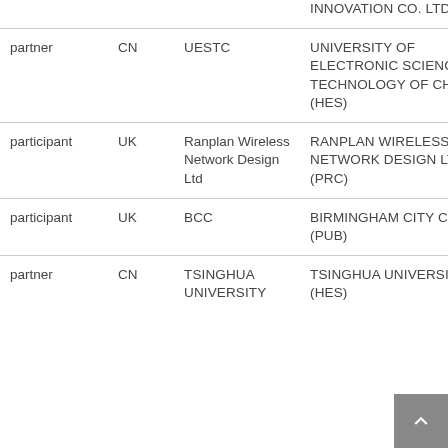| Role | Country | Short Name | Full Name |
| --- | --- | --- | --- |
|  |  |  | INNOVATION CO. LTD (PRC) |
| partner | CN | UESTC | UNIVERSITY OF ELECTRONIC SCIENCE AND TECHNOLOGY OF CHINA (HES) |
| participant | UK | Ranplan Wireless Network Design Ltd | RANPLAN WIRELESS NETWORK DESIGN LTD (PRC) |
| participant | UK | BCC | BIRMINGHAM CITY COUNCIL (PUB) |
| partner | CN | TSINGHUA UNIVERSITY | TSINGHUA UNIVERSITY (HES) |